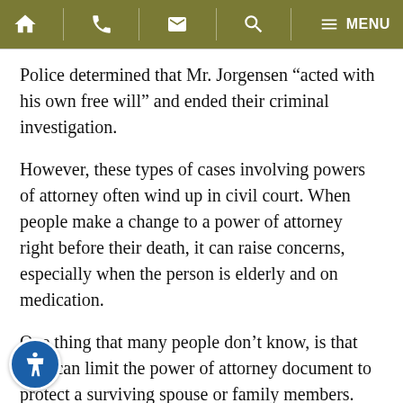Navigation bar with home, phone, email, search, and menu icons
Police determined that Mr. Jorgensen “acted with his own free will” and ended their criminal investigation.
However, these types of cases involving powers of attorney often wind up in civil court. When people make a change to a power of attorney right before their death, it can raise concerns, especially when the person is elderly and on medication.
One thing that many people don’t know, is that they can limit the power of attorney document to protect a surviving spouse or family members.
It’s important to carefully choose an agent and make certain that the power of attorney is properly notarized. You should select a person whom you trust, and whom